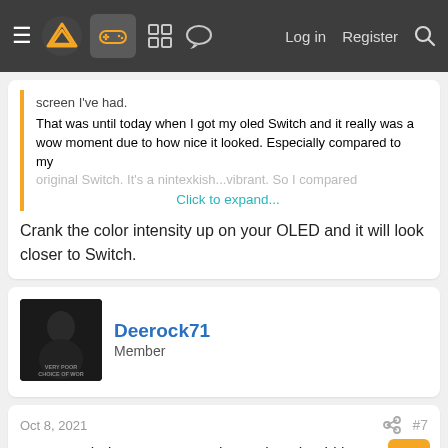Navigation bar with menu, logo, controller icon, grid icon, chat icon, Log in, Register, Search
screen I've had.
That was until today when I got my oled Switch and it really was a wow moment due to how nice it looked. Especially compared to my original Switch. It's a ninte... [Click to expand...]
Crank the color intensity up on your OLED and it will look closer to Switch.
Deerock71
Member
Oct 8, 2021
#7
Set your oled tv to 'store' settings. That should be the equivalent to 'vibrant' setting on the switch.
phaedrus, Hendrick's, M1chl and 2 others